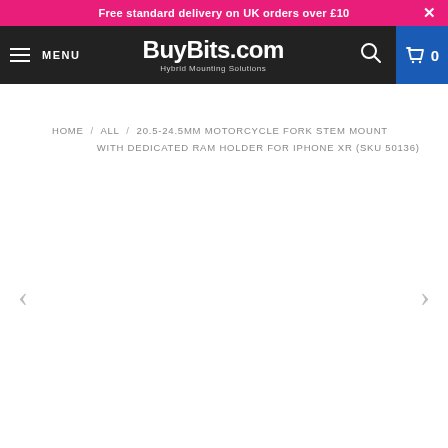Free standard delivery on UK orders over £10
BuyBits.com Hybrid Mounting Solutions
HOME / ALL / 20.5-24.5MM MOTORCYCLE FORK STEM MOUNT WITH DEDICATED RAM HOLDER FOR IPHONE XR (SKU 50136)